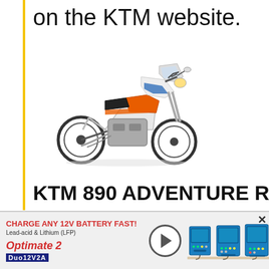on the KTM website.
[Figure (photo): KTM 890 Adventure R Rally motorcycle in white/orange/blue livery, side view facing right]
KTM 890 ADVENTURE R RA...
HIGHLIGHTS
Limited-edition, 700 units [5...
[Figure (photo): Advertisement banner for Optimate 2 Duo 12V2A battery charger. Text reads: CHARGE ANY 12V BATTERY FAST! Lead-acid & Lithium (LFP). Optimate 2 Duo 12V2A. Shows charger devices on right side.]